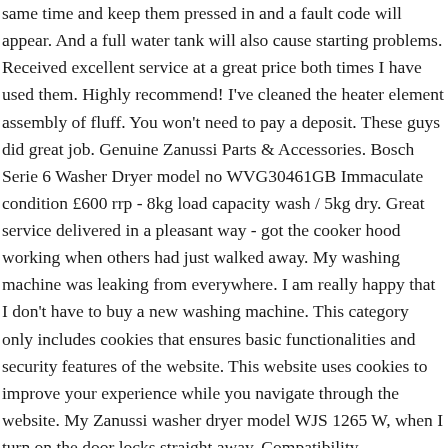same time and keep them pressed in and a fault code will appear. And a full water tank will also cause starting problems. Received excellent service at a great price both times I have used them. Highly recommend! I've cleaned the heater element assembly of fluff. You won't need to pay a deposit. These guys did great job. Genuine Zanussi Parts & Accessories. Bosch Serie 6 Washer Dryer model no WVG30461GB Immaculate condition £600 rrp - 8kg load capacity wash / 5kg dry. Great service delivered in a pleasant way - got the cooker hood working when others had just walked away. My washing machine was leaking from everywhere. I am really happy that I don't have to buy a new washing machine. This category only includes cookies that ensures basic functionalities and security features of the website. This website uses cookies to improve your experience while you navigate through the website. My Zanussi washer dryer model WJS 1265 W, when I turn on the door locks straight away. Compatibility Guaranteed! Excellent service! 669 Reviews. The next